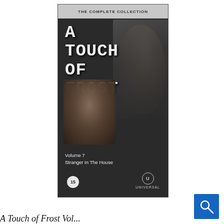[Figure (photo): VHS tape cover for 'A Touch of Frost' Volume 7 - Stranger In The House. Dark cover with large white serif/typewriter-style title text reading 'A TOUCH OF FROST'. Shows a face in the background and a figure in the lower portion. Bottom shows Volume 7 Stranger In The House subtitle, a '15' rating circle, and Universal logo. Top banner reads 'THE COMPLETE COLLECTION'.]
[Figure (screenshot): Blue search/magnifying glass button in the bottom right corner of the page.]
A Touch of Frost Vol...